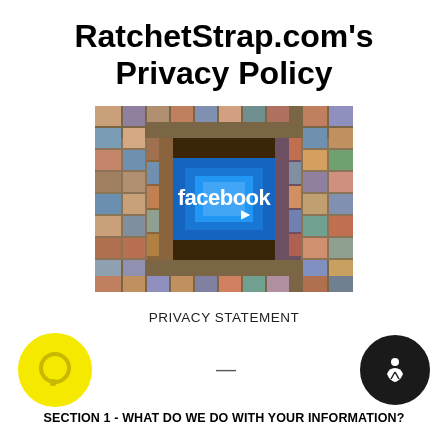RatchetStrap.com's Privacy Policy
[Figure (illustration): Facebook logo on a blue background surrounded by a tunnel of social media profile photos]
PRIVACY STATEMENT
[Figure (infographic): Yellow speech bubble circle icon on the left, a dash in the center, and a black accessibility icon circle on the right]
SECTION 1 - WHAT DO WE DO WITH YOUR INFORMATION?